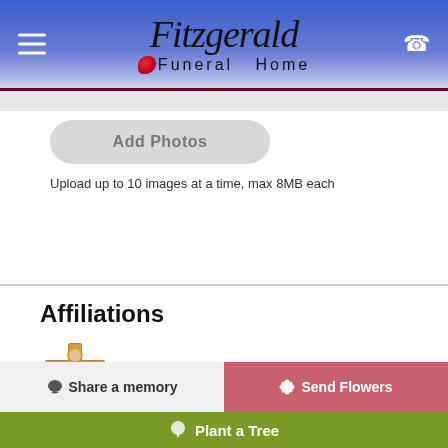Fitzgerald Funeral Home
Add Photos
Upload up to 10 images at a time, max 8MB each
Affiliations
[Figure (illustration): Gold and brown crucifix icon with Jesus figure]
Crucifix
Share a memory
Send Flowers
Plant a Tree